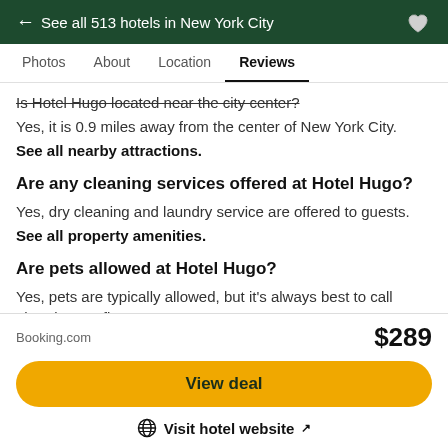← See all 513 hotels in New York City
Photos  About  Location  Reviews
Is Hotel Hugo located near the city center?
Yes, it is 0.9 miles away from the center of New York City.
See all nearby attractions.
Are any cleaning services offered at Hotel Hugo?
Yes, dry cleaning and laundry service are offered to guests.
See all property amenities.
Are pets allowed at Hotel Hugo?
Yes, pets are typically allowed, but it's always best to call ahead to confirm.
Booking.com
$289
View deal
Visit hotel website ↗